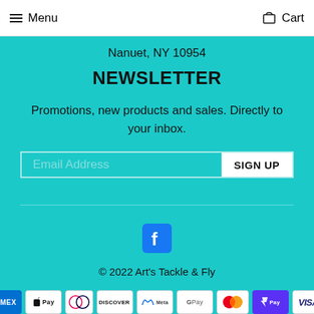Menu  Cart
Nanuet, NY 10954
NEWSLETTER
Promotions, new products and sales. Directly to your inbox.
Email Address  SIGN UP
[Figure (logo): Facebook icon (white F on teal square)]
© 2022 Art's Tackle & Fly
[Figure (infographic): Payment method badges: American Express, Apple Pay, Diners Club, Discover, Meta Pay, Google Pay, Mastercard, ShopPay, Visa]